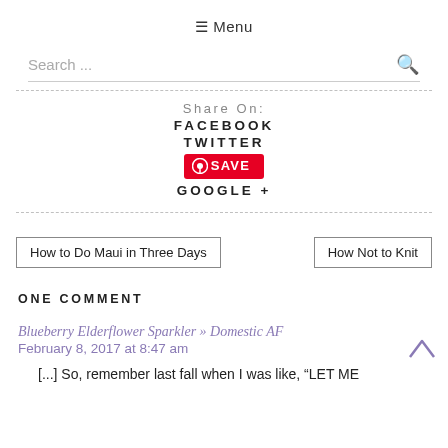≡ Menu
Search ...
Share On:
FACEBOOK
TWITTER
SAVE
GOOGLE +
How to Do Maui in Three Days
How Not to Knit
ONE COMMENT
Blueberry Elderflower Sparkler » Domestic AF
February 8, 2017 at 8:47 am
[...] So, remember last fall when I was like, "LET ME